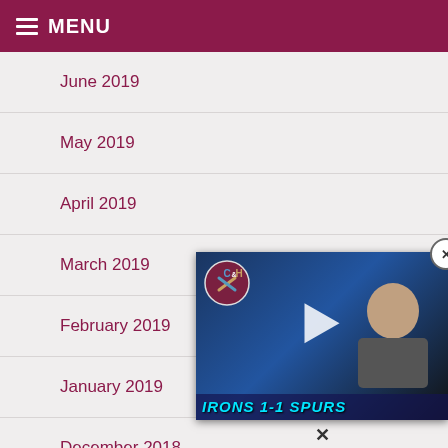MENU
June 2019
May 2019
April 2019
March 2019
February 2019
January 2019
December 2018
November 2018
[Figure (screenshot): Video overlay showing a bald man, C&H logo, play button, and 'IRONS 1-1 SPURS' text banner with a close (X) button]